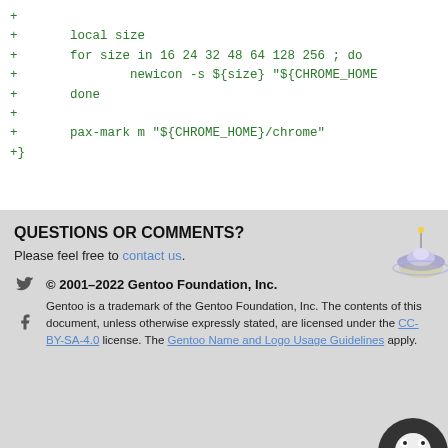+ 
+       local size
+       for size in 16 24 32 48 64 128 256 ; do
+               newicon -s ${size} "${CHROME_HOME
+       done
+
+       pax-mark m "${CHROME_HOME}/chrome"
+}
QUESTIONS OR COMMENTS?
Please feel free to contact us.
© 2001–2022 Gentoo Foundation, Inc. Gentoo is a trademark of the Gentoo Foundation, Inc. The contents of this document, unless otherwise expressly stated, are licensed under the CC-BY-SA-4.0 license. The Gentoo Name and Logo Usage Guidelines apply.